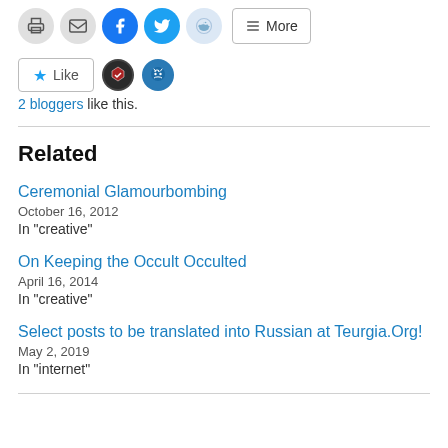[Figure (other): Social share buttons: print, email, Facebook, Twitter, Reddit, More]
[Figure (other): Like button with two blogger avatars]
2 bloggers like this.
Related
Ceremonial Glamourbombing
October 16, 2012
In "creative"
On Keeping the Occult Occulted
April 16, 2014
In "creative"
Select posts to be translated into Russian at Teurgia.Org!
May 2, 2019
In "internet"